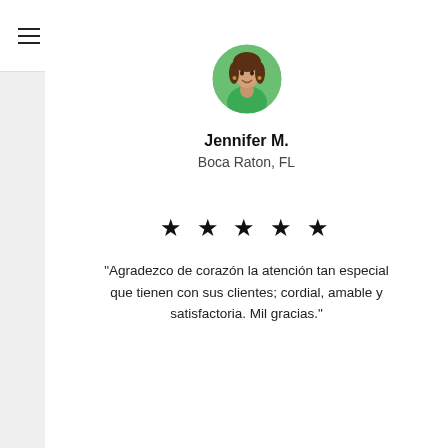USS (logo) — navigation header with hamburger menu, search, heart, and bag icons
[Figure (photo): Circular profile photo of Jennifer M., a woman in a green shirt with greenery background]
Jennifer M.
Boca Raton, FL
★ ★ ★ ★ ★
"Agradezco de corazón la atención tan especial que tienen con sus clientes; cordial, amable y satisfactoria. Mil gracias."